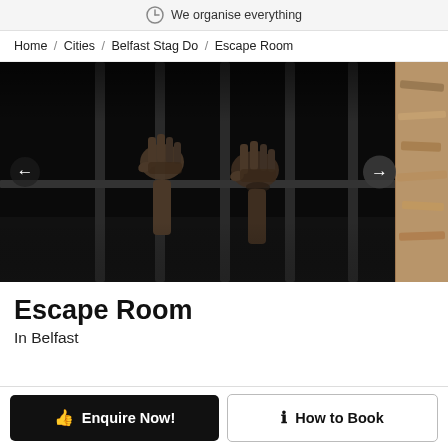We organise everything
Home / Cities / Belfast Stag Do / Escape Room
[Figure (photo): Dark jail/prison cell bars with two hands gripping the bars, dramatic black background. Right edge shows a peek of another image with wooden floor texture.]
Escape Room
In Belfast
Enquire Now!
How to Book